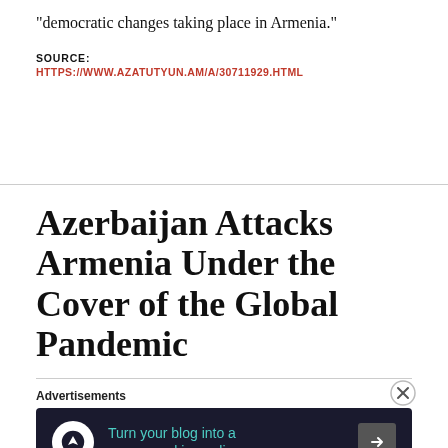“democratic changes taking place in Armenia.”
SOURCE: HTTPS://WWW.AZATUTYUN.AM/A/30711929.HTML
Azerbaijan Attacks Armenia Under the Cover of the Global Pandemic
[Figure (other): Advertisement banner: dark background with icon, text 'Turn your blog into a money-making online course.' and arrow button]